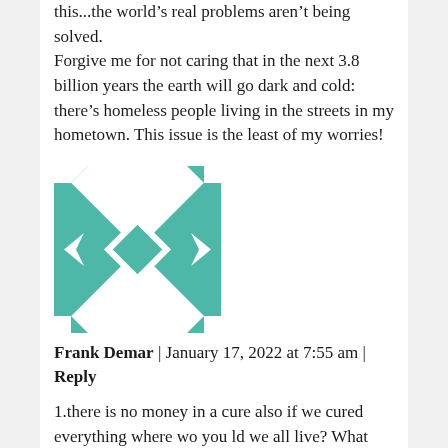this...the world's real problems aren't being solved.
Forgive me for not caring that in the next 3.8 billion years the earth will go dark and cold: there's homeless people living in the streets in my hometown. This issue is the least of my worries!
[Figure (illustration): Teal and white geometric quilt-pattern avatar icon]
Frank Demar | January 17, 2022 at 7:55 am | Reply
1.there is no money in a cure also if we cured everything where wo you ld we all live? What would we all eat? We would use a ton more of natural resources to keep us all going???